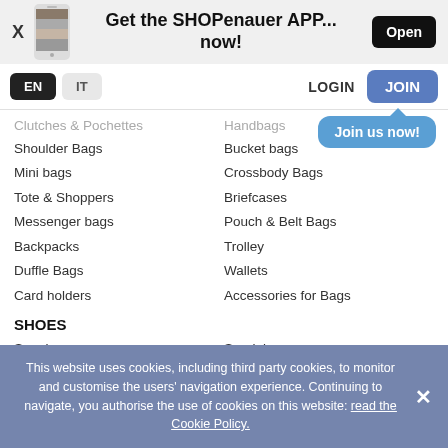Get the SHOPenauer APP... now!
EN
IT
LOGIN
JOIN
Join us now!
Shoulder Bags
Bucket bags
Mini bags
Crossbody Bags
Tote & Shoppers
Briefcases
Messenger bags
Pouch & Belt Bags
Backpacks
Trolley
Duffle Bags
Wallets
Card holders
Accessories for Bags
SHOES
Sneakers
Sandals
Slippers & Slides
Heeled Shoes
This website uses cookies, including third party cookies, to monitor and customise the users’ navigation experience. Continuing to navigate, you authorise the use of cookies on this website: read the Cookie Policy.